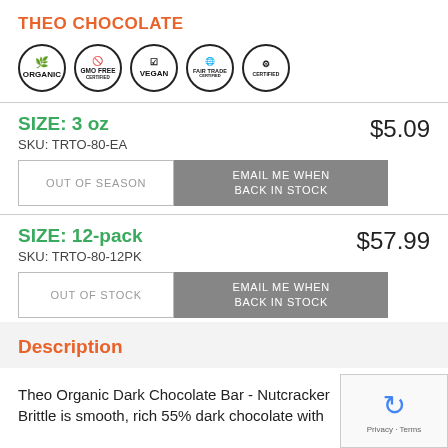THEO CHOCOLATE
[Figure (logo): Five certification badge icons: Organic, GMO Free, Vegan, Fair Trade, and another certification badge]
SIZE: 3 oz
SKU: TRTO-80-EA
$5.09
OUT OF SEASON
EMAIL ME WHEN BACK IN STOCK
SIZE: 12-pack
SKU: TRTO-80-12PK
$57.99
OUT OF STOCK
EMAIL ME WHEN BACK IN STOCK
Description
Theo Organic Dark Chocolate Bar - Nutcracker Brittle is smooth, rich 55% dark chocolate with